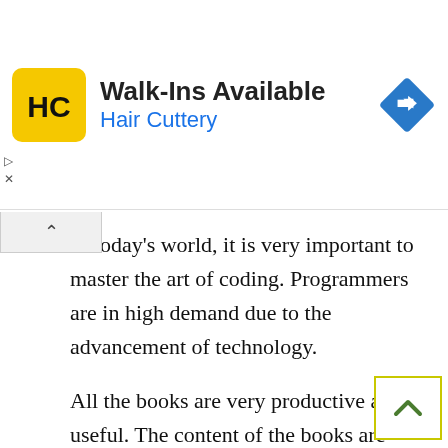[Figure (illustration): Hair Cuttery advertisement banner with logo (HC in yellow square), heading 'Walk-Ins Available', subheading 'Hair Cuttery' in blue, and a blue navigation/directions diamond icon on the right.]
In today's world, it is very important to master the art of coding. Programmers are in high demand due to the advancement of technology.
All the books are very productive and useful. The content of the books are simple and is accompanied by beautiful illustrations. These coding books for kids make the learning process easier and fun.